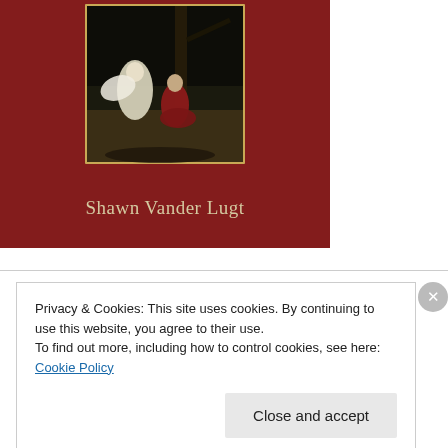[Figure (illustration): Book cover with dark red background, painting of an angel and a figure in red kneeling under a tree, and author name 'Shawn Vander Lugt' in cream/gold serif text at the bottom.]
Privacy & Cookies: This site uses cookies. By continuing to use this website, you agree to their use.
To find out more, including how to control cookies, see here: Cookie Policy
Close and accept